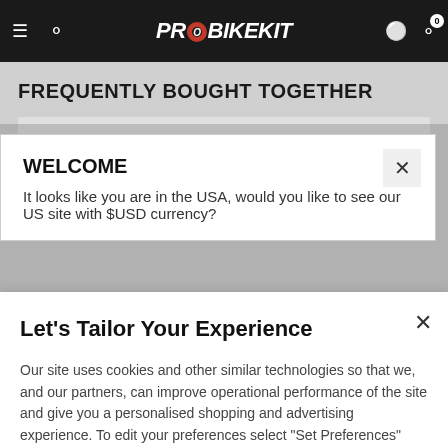[Figure (screenshot): ProBikeKit website navigation bar with hamburger menu, search icon, logo, user and cart icons]
FREQUENTLY BOUGHT TOGETHER
WELCOME
It looks like you are in the USA, would you like to see our US site with $USD currency?
Let's Tailor Your Experience
Our site uses cookies and other similar technologies so that we, and our partners, can improve operational performance of the site and give you a personalised shopping and advertising experience. To edit your preferences select "Set Preferences" where you can change these at any time. Find out more information here.
Set Preferences
That's OK